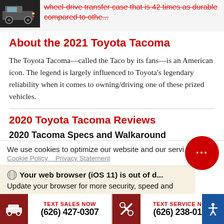[Figure (photo): Thumbnail image of a truck/SUV vehicle (dark colored) on a dark background, top-left corner]
wheel-drive transfer case that is 42 times as durable compared to othe...
About the 2021 Toyota Tacoma
The Toyota Tacoma—called the Taco by its fans—is an American icon. The legend is largely influenced to Toyota's legendary reliability when it comes to owning/driving one of these prized vehicles.
2020 Toyota Tacoma Reviews
2020 Tacoma Specs and Walkaround
We use cookies to optimize our website and our servi...
Cookie Policy   Privacy Statement
Your web browser (iOS 11) is out of d...
Update your browser for more security, speed and
TEXT SALES NOW
(626) 427-0307
TEXT SERVICE NOW
(626) 238-0180